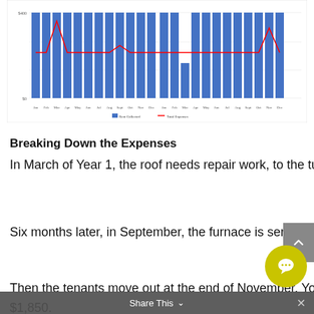[Figure (bar-chart): Bar chart showing Rent Collected (blue bars) and Total Expenses (red line) over 2 years monthly]
Breaking Down the Expenses
In March of Year 1, the roof needs repair work, to the tune of $1,458.
Six months later, in September, the furnace is serviced for $200.
Then the tenants move out at the end of November. You send in a crew to paint the inside of the unit, costing $1,850.